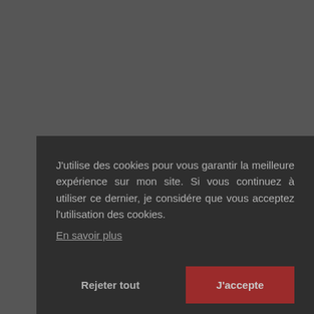J'utilise des cookies pour vous garantir la meilleure expérience sur mon site. Si vous continuez à utiliser ce dernier, je considére que vous acceptez l'utilisation des cookies.
En savoir plus
Rejeter tout
J'accepte